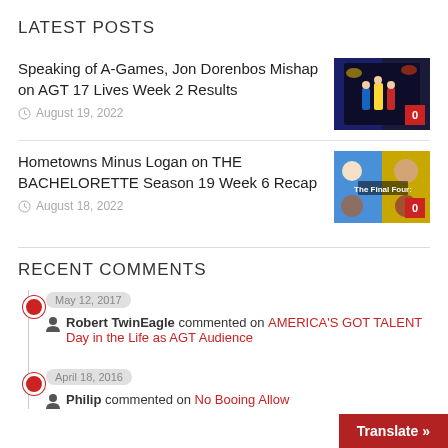LATEST POSTS
Speaking of A-Games, Jon Dorenbos Mishap on AGT 17 Lives Week 2 Results
August 19, 2022
Hometowns Minus Logan on THE BACHELORETTE Season 19 Week 6 Recap
August 18, 2022
RECENT COMMENTS
May 12, 2017
Robert TwinEagle commented on AMERICA'S GOT TALENT Day in the Life as AGT Audience
April 18, 2016
Philip commented on No Booing Allow